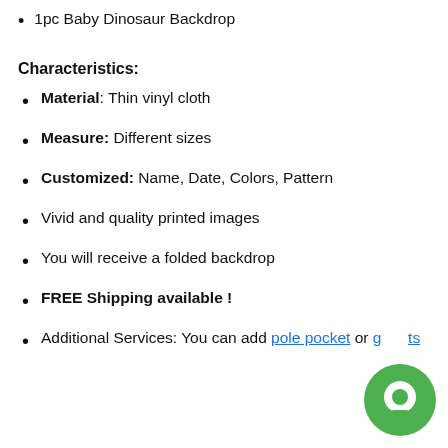1pc Baby Dinosaur Backdrop
Characteristics:
Material: Thin vinyl cloth
Measure: Different sizes
Customized: Name, Date, Colors, Pattern
Vivid and quality printed images
You will receive a folded backdrop
FREE Shipping available !
Additional Services: You can add pole pocket or grommets